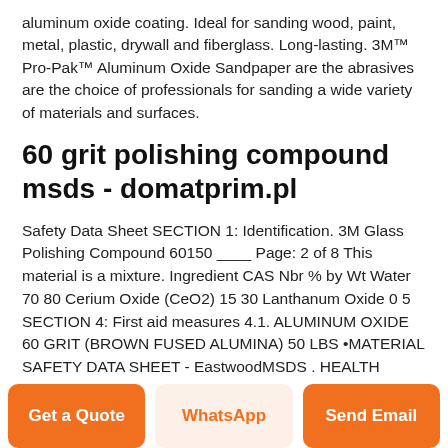aluminum oxide coating. Ideal for sanding wood, paint, metal, plastic, drywall and fiberglass. Long-lasting. 3M™ Pro-Pak™ Aluminum Oxide Sandpaper are the abrasives are the choice of professionals for sanding a wide variety of materials and surfaces.
60 grit polishing compound msds - domatprim.pl
Safety Data Sheet SECTION 1: Identification. 3M Glass Polishing Compound 60150 ____ Page: 2 of 8 This material is a mixture. Ingredient CAS Nbr % by Wt Water 70 80 Cerium Oxide (CeO2) 15 30 Lanthanum Oxide 0 5 SECTION 4: First aid measures 4.1. ALUMINUM OXIDE 60 GRIT (BROWN FUSED ALUMINA) 50 LBS •MATERIAL SAFETY DATA SHEET - EastwoodMSDS . HEALTH FLAMMABILITY PHYSICAL HAZARD Personal Protection. 1 0 0 E . FW #13792 - Aluminum Oxide
Get a Quote
WhatsApp
Send Email